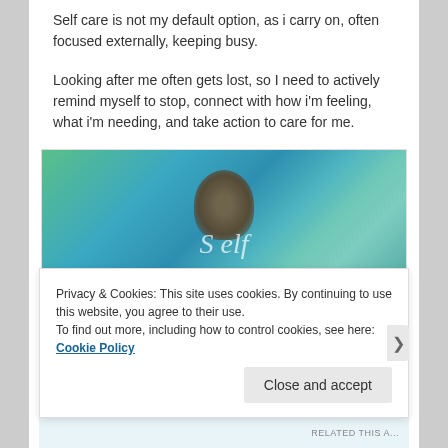Self care is not my default option, as i carry on, often focused externally, keeping busy.
Looking after me often gets lost, so I need to actively remind myself to stop, connect with how i'm feeling, what i'm needing, and take action to care for me.
[Figure (illustration): An abstract painted image with teal/green/blue tones showing a figure with spread wings or arms, and cursive text overlay at the bottom. Mixed media art style.]
Privacy & Cookies: This site uses cookies. By continuing to use this website, you agree to their use.
To find out more, including how to control cookies, see here: Cookie Policy
Close and accept